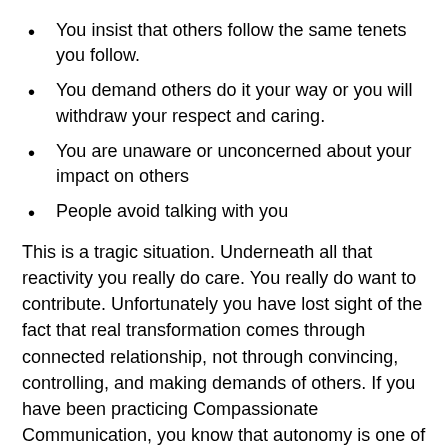You insist that others follow the same tenets you follow.
You demand others do it your way or you will withdraw your respect and caring.
You are unaware or unconcerned about your impact on others
People avoid talking with you
This is a tragic situation. Underneath all that reactivity you really do care. You really do want to contribute. Unfortunately you have lost sight of the fact that real transformation comes through connected relationship, not through convincing, controlling, and making demands of others. If you have been practicing Compassionate Communication, you know that autonomy is one of the most important human needs. When you are behaving in a way that violates the other person's choice, they will spend their energy protecting autonomy rather than getting curious